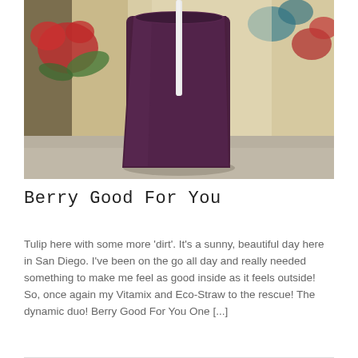[Figure (photo): A tall cup filled with a dark purple berry smoothie with a white straw, set on a table with a floral fabric background in the background.]
Berry Good For You
Tulip here with some more 'dirt'. It's a sunny, beautiful day here in San Diego. I've been on the go all day and really needed something to make me feel as good inside as it feels outside! So, once again my Vitamix and Eco-Straw to the rescue! The dynamic duo! Berry Good For You One [...]